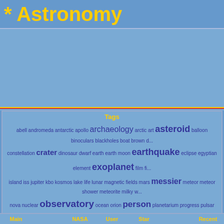* Astronomy
[Figure (other): Advertisement/banner area with blue background]
Tags
abell andromeda antarctic apollo archaeology arctic art asteroid balloon binoculars blackholes boat brown d... constellation crater dinosaur dwarf earth earth moon earthquake eclipse egyptian element exoplanet film fi... island iss jupiter kbo kosmos lake life lunar magnetic fields mars messier meteor meteor shower meteorite milky w... nova nuclear observatory ocean orion person planetarium progress pulsar quantum quasar refractor rive... spaceship standing stones star sts sun supernova supervolcano telescope temple tno tree trojan tsunamis universe y... webcam white dwarf wise wolf-rayet
Members Login
Username
Password
Remember Me
New Member
Lost Account Info?
Main  NASA  User  Star  Recent